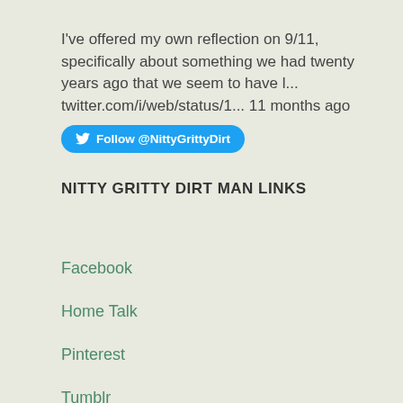I've offered my own reflection on 9/11, specifically about something we had twenty years ago that we seem to have l... twitter.com/i/web/status/1... 11 months ago  Follow @NittyGrittyDirt
NITTY GRITTY DIRT MAN LINKS
Facebook
Home Talk
Pinterest
Tumblr